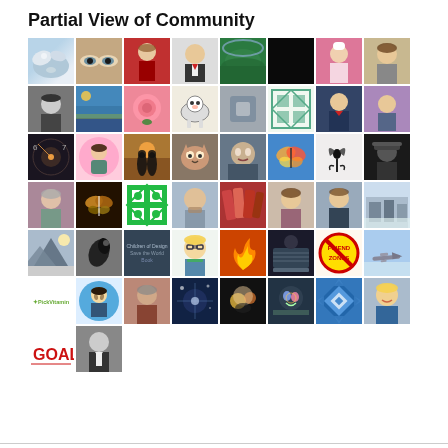Partial View of Community
[Figure (infographic): A grid of community member profile pictures and avatars showing diverse users including photos, illustrations, logos, and icons arranged in a 8-column by 6-row grid layout]